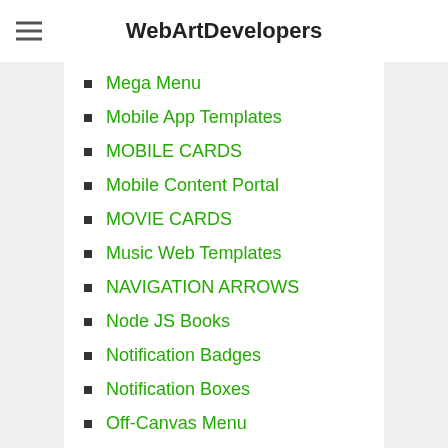WebArtDevelopers
Mega Menu
Mobile App Templates
MOBILE CARDS
Mobile Content Portal
MOVIE CARDS
Music Web Templates
NAVIGATION ARROWS
Node JS Books
Notification Badges
Notification Boxes
Off-Canvas Menu
Other Books
Periodic Tables
Personal Websites